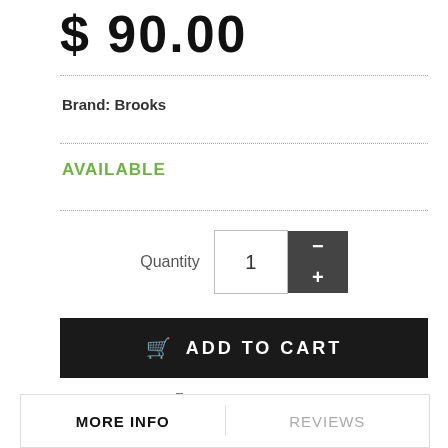$ 90.00
Brand: Brooks
AVAILABLE
Quantity 1 - +
ADD TO CART
Print  Wishlist
MORE INFO  REVIEWS